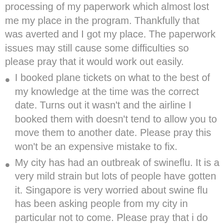processing of my paperwork which almost lost me my place in the program. Thankfully that was averted and I got my place. The paperwork issues may still cause some difficulties so please pray that it would work out easily.
I booked plane tickets on what to the best of my knowledge at the time was the correct date. Turns out it wasn't and the airline I booked them with doesn't tend to allow you to move them to another date. Please pray this won't be an expensive mistake to fix.
My city has had an outbreak of swineflu. It is a very mild strain but lots of people have gotten it. Singapore is very worried about swine flu has been asking people from my city in particular not to come. Please pray that i do not get swine flu (or anything that overzealous customs officers may confuse with swine flu) and that where i come from would not cause me any difficulties in getting out of Australia or into Singapore.